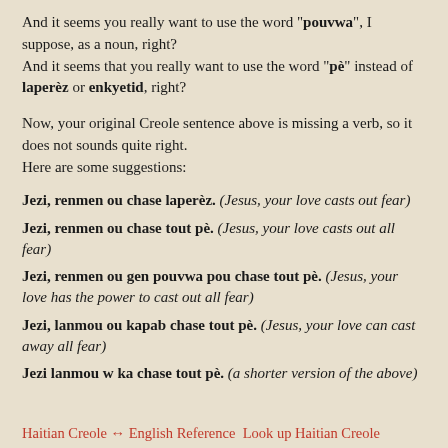And it seems you really want to use the word "pouvwa", I suppose, as a noun, right?
And it seems that you really want to use the word "pè" instead of laperèz or enkyetid, right?
Now, your original Creole sentence above is missing a verb, so it does not sounds quite right.
Here are some suggestions:
Jezi, renmen ou chase laperèz. (Jesus, your love casts out fear)
Jezi, renmen ou chase tout pè. (Jesus, your love casts out all fear)
Jezi, renmen ou gen pouvwa pou chase tout pè. (Jesus, your love has the power to cast out all fear)
Jezi, lanmou ou kapab chase tout pè. (Jesus, your love can cast away all fear)
Jezi lanmou w ka chase tout pè. (a shorter version of the above)
Haitian Creole ↔ English Reference  Look up Haitian Creole